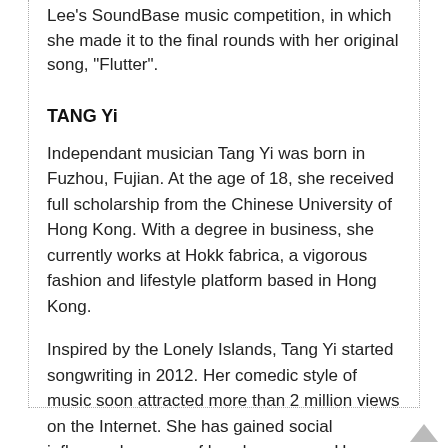Lee's SoundBase music competition, in which she made it to the final rounds with her original song, "Flutter".
TANG Yi
Independant musician Tang Yi was born in Fuzhou, Fujian. At the age of 18, she received full scholarship from the Chinese University of Hong Kong. With a degree in business, she currently works at Hokk fabrica, a vigorous fashion and lifestyle platform based in Hong Kong.
Inspired by the Lonely Islands, Tang Yi started songwriting in 2012. Her comedic style of music soon attracted more than 2 million views on the Internet. She has gained social influence by some of her deep songs. Her original work 'Hong Kong, Hong Kong' was mentioned multiple times in the feature reports by Southern Weekend, Phoenix TV and Sing Tao.